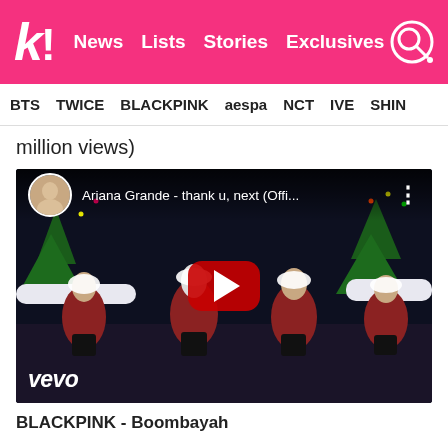koreaboo - News | Lists | Stories | Exclusives
BTS  TWICE  BLACKPINK  aespa  NCT  IVE  SHIN...
...million views)
[Figure (screenshot): YouTube video embed showing Ariana Grande - thank u, next (Official Music Video) with vevo branding, featuring four women in Santa Claus outfits posing on a stage with Christmas trees in the background. A red YouTube play button is visible in the center.]
BLACKPINK - Boombayah